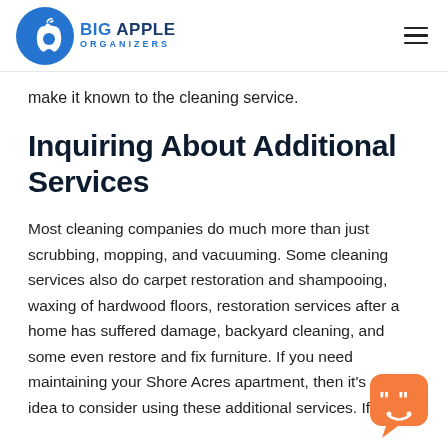Big Apple Organizers
make it known to the cleaning service.
Inquiring About Additional Services
Most cleaning companies do much more than just scrubbing, mopping, and vacuuming. Some cleaning services also do carpet restoration and shampooing, waxing of hardwood floors, restoration services after a home has suffered damage, backyard cleaning, and some even restore and fix furniture. If you need maintaining your Shore Acres apartment, then it's a good idea to consider using these additional services. If